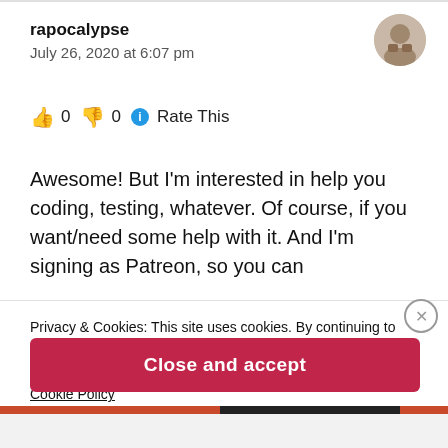rapocalypse
July 26, 2020 at 6:07 pm
👍 0 👎 0 ℹ Rate This
Awesome! But I'm interested in help you coding, testing, whatever. Of course, if you want/need some help with it. And I'm signing as Patreon, so you can
Privacy & Cookies: This site uses cookies. By continuing to use this website, you agree to their use.
To find out more, including how to control cookies, see here:
Cookie Policy
Close and accept